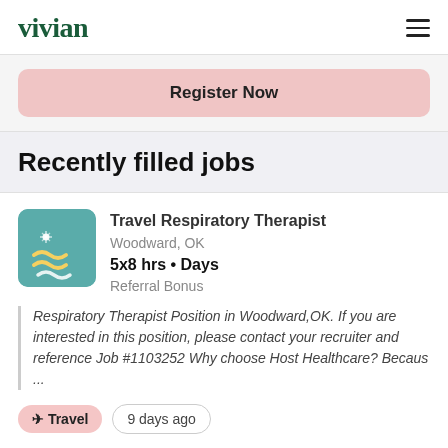vivian
Register Now
Recently filled jobs
Travel Respiratory Therapist
Woodward, OK
5x8 hrs • Days
Referral Bonus
Respiratory Therapist Position in Woodward,OK. If you are interested in this position, please contact your recruiter and reference Job #1103252 Why choose Host Healthcare? Becaus ...
✈ Travel   9 days ago